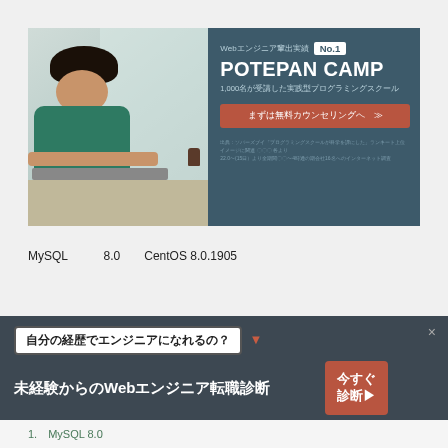[Figure (photo): POTEPAN CAMP advertisement banner showing a young man working on a laptop on the left side, and promotional text on a dark teal background on the right: 'Webエンジニア輩出実績 No.1 POTEPAN CAMP 1,000名が受講した実践型プログラミングスクール' with a call-to-action button 'まずは無料カウンセリングへ >>']
MySQL　　　8.0　　CentOS 8.0.1905
[Figure (infographic): Bottom advertisement for 未経験からのWebエンジニア転職診断 (Web engineer career change diagnosis for inexperienced), with question box '自分の経済でエンジニアになれるの？' and CTA button '今すぐ診断▶']
1. MySQL 8.0